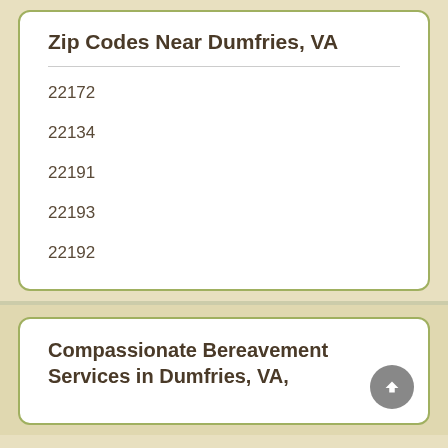Zip Codes Near Dumfries, VA
22172
22134
22191
22193
22192
Compassionate Bereavement Services in Dumfries, VA,